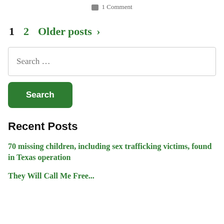1 Comment
1   2   Older posts >
Search ...
Search
Recent Posts
70 missing children, including sex trafficking victims, found in Texas operation
They Will Call Me Free...